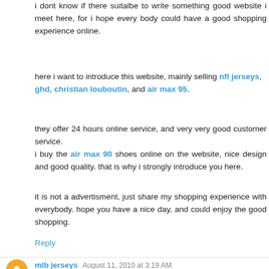i dont know if there suitalbe to write something good website i meet here, for i hope every body could have a good shopping experience online.
here i want to introduce this website, mainly selling nfl jerseys, ghd, christian louboutin, and air max 95.
they offer 24 hours online service, and very very good customer service.
i buy the air max 90 shoes online on the website, nice design and good quality. that is why i strongly introduce you here.
it is not a advertisment, just share my shopping experience with everybody. hope you have a nice day, and could enjoy the good shopping.
Reply
mlb jerseys  August 11, 2010 at 3:19 AM
i dont know if there suitalbe to write something good